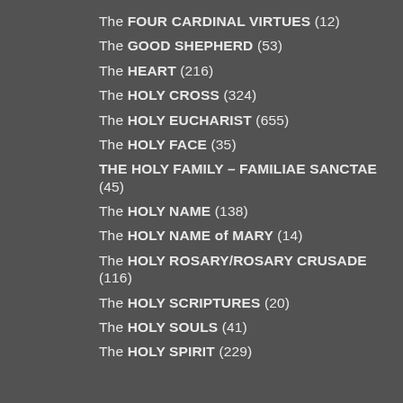The FOUR CARDINAL VIRTUES (12)
The GOOD SHEPHERD (53)
The HEART (216)
The HOLY CROSS (324)
The HOLY EUCHARIST (655)
The HOLY FACE (35)
THE HOLY FAMILY – FAMILIAE SANCTAE (45)
The HOLY NAME (138)
The HOLY NAME of MARY (14)
The HOLY ROSARY/ROSARY CRUSADE (116)
The HOLY SCRIPTURES (20)
The HOLY SOULS (41)
The HOLY SPIRIT (229)